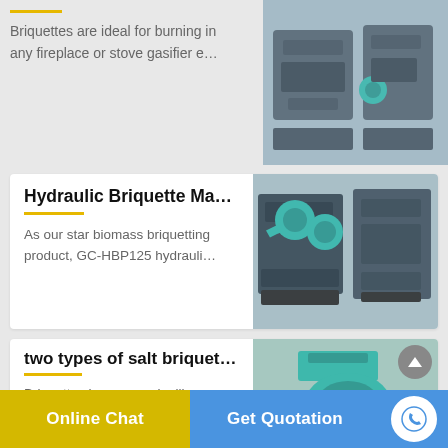Briquettes are ideal for burning in any fireplace or stove gasifier e…
[Figure (photo): Industrial briquette machine equipment in a factory, dark grey/blue machines]
Hydraulic Briquette Ma…
As our star biomass briquetting product, GC-HBP125 hydrauli…
[Figure (photo): Hydraulic briquette press machine with green rollers in factory]
two types of salt briquet…
Briquette shape: round, pillow, square, etc. Briquette size: 10-…
[Figure (photo): Green salt briquette press machine with yellow and red accents]
Online Chat  Get Quotation